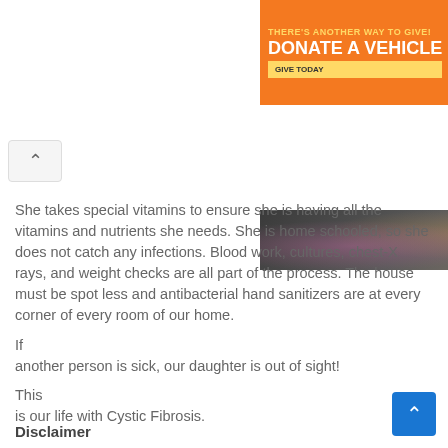[Figure (other): Orange advertisement banner reading THERE'S ANOTHER WAY TO GIVE! DONATE A VEHICLE with GIVE TODAY button and white car silhouette]
[Figure (photo): Partial photo strip showing blurred figures, appears to be people]
She takes special vitamins to ensure she is having all the vitamins and nutrients she needs. She is home schooled, so she does not catch any infections. Blood work, cultures, chest-X rays, and weight checks are all part of the process. The house must be spot less and antibacterial hand sanitizers are at every corner of every room of our home.
If another person is sick, our daughter is out of sight!
This is our life with Cystic Fibrosis.
Disclaimer